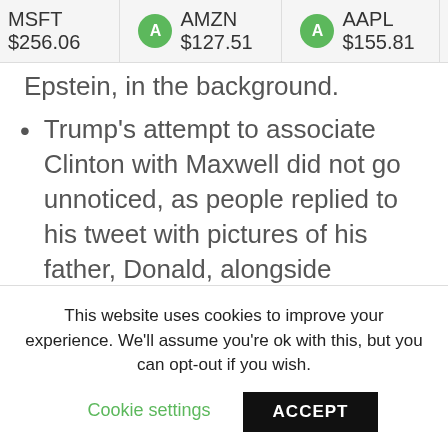MSFT $256.06   AMZN $127.51   AAPL $155.81
Epstein, in the background.
Trump's attempt to associate Clinton with Maxwell did not go unnoticed, as people replied to his tweet with pictures of his father, Donald, alongside Maxwell.
Visit Business Insider's homepage for more stories.
A controversial tweet from Eric Trump's Twitter account disappeared after hundreds
This website uses cookies to improve your experience. We'll assume you're ok with this, but you can opt-out if you wish. Cookie settings ACCEPT